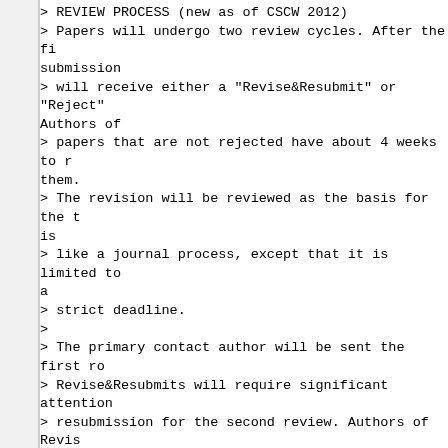> REVIEW PROCESS (new as of CSCW 2012)
> Papers will undergo two review cycles. After the fi submission
> will receive either a "Revise&Resubmit" or "Reject" Authors of
> papers that are not rejected have about 4 weeks to r them.
> The revision will be reviewed as the basis for the t is
> like a journal process, except that it is limited to a
> strict deadline.
>
> The primary contact author will be sent the first ro
> Revise&Resubmits will require significant attention
> resubmission for the second review. Authors of Revis asked
> to provide a description of how reviewer comments we Submissions
> that are rejected in the first round cannot be revis but
> authors can begin reworking them for submission else to
> allocate time for revisions after July 27, when the are
> returned. Final acceptance decisions will be based o (revised)
> submission.
>
> The revision cycle enables authors to spend a month